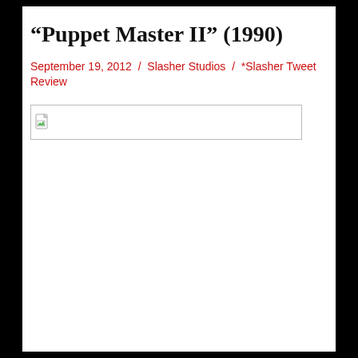“Puppet Master II” (1990)
September 19, 2012 / Slasher Studios / *Slasher Tweet Review
[Figure (other): Broken image placeholder — a failed image load shown as a small broken-image icon inside a bordered rectangle]